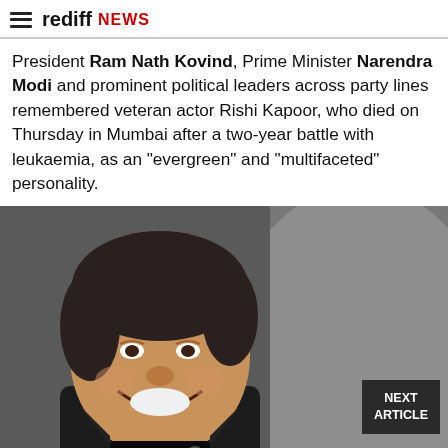rediff NEWS
President Ram Nath Kovind, Prime Minister Narendra Modi and prominent political leaders across party lines remembered veteran actor Rishi Kapoor, who died on Thursday in Mumbai after a two-year battle with leukaemia, as an "evergreen" and "multifaceted" personality.
[Figure (photo): Rishi Kapoor smiling and laughing at an event, wearing a black suit and black turtleneck, holding a microphone, seated in front of a large black-and-white close-up portrait background. A 'NEXT ARTICLE' badge appears in the lower right corner.]